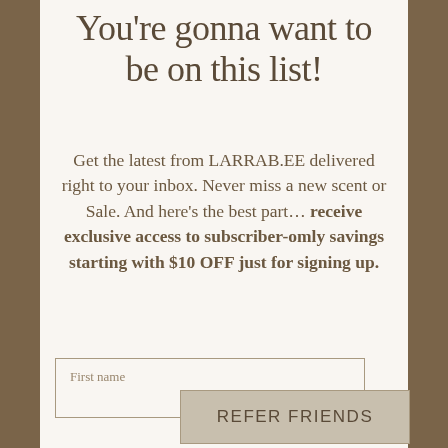You're gonna want to be on this list!
Get the latest from LARRAB.EE delivered right to your inbox. Never miss a new scent or Sale. And here's the best part… receive exclusive access to subscriber-omly savings starting with $10 OFF just for signing up.
First name
REFER FRIENDS